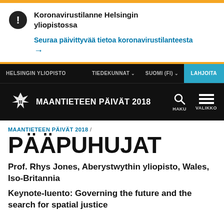Koronavirustilanne Helsingin yliopistossa
Seuraa päivittyvää tietoa koronavirustilanteesta →
HELSINGIN YLIOPISTO  TIEDEKUNNAT  SUOMI (FI)  LAHJOITA
MAANTIETEEN PÄIVÄT 2018
MAANTIETEEN PÄIVÄT 2018 /
PÄÄPUHUJAT
Prof. Rhys Jones, Aberystwythin yliopisto, Wales, Iso-Britannia
Keynote-luento: Governing the future and the search for spatial justice